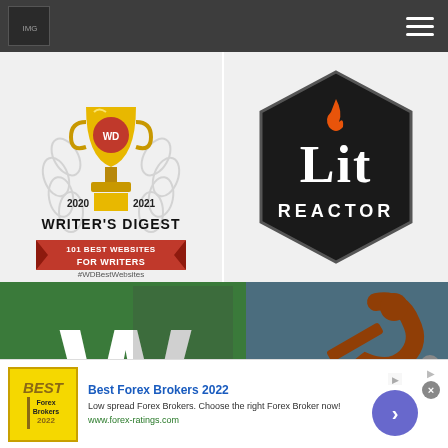[Figure (screenshot): Dark navigation bar with a logo image on the left and hamburger menu icon on the right]
[Figure (logo): Writer's Digest 101 Best Websites for Writers award logo with gold trophy, laurel wreath, years 2020 and 2021, and #WDBestWebsites hashtag]
[Figure (logo): LitReactor black hexagon logo with orange flame drop and white text 'Lit REACTOR']
[Figure (logo): Green background with large white W letter logo]
[Figure (screenshot): Video player error overlay on blue background with orange figure illustration, showing 'NO COMPATIBLE SOURCE WAS FOUND FOR THIS MEDIA.' with close button]
[Figure (infographic): Advertisement banner: Best Forex Brokers 2022 - Low spread Forex Brokers. Choose the right Forex Broker now! www.forex-ratings.com]